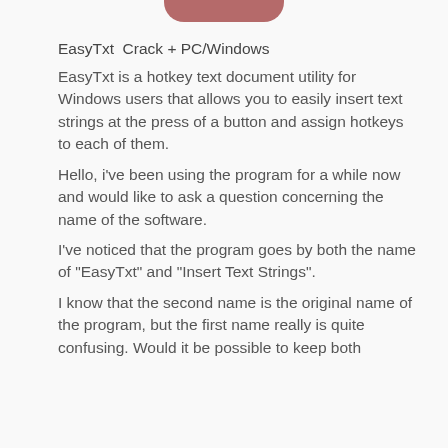[Figure (other): Rounded pink/mauve button or tab element at top center of page]
EasyTxt  Crack + PC/Windows
EasyTxt is a hotkey text document utility for Windows users that allows you to easily insert text strings at the press of a button and assign hotkeys to each of them.
Hello, i've been using the program for a while now and would like to ask a question concerning the name of the software.
I've noticed that the program goes by both the name of "EasyTxt" and "Insert Text Strings".
I know that the second name is the original name of the program, but the first name really is quite confusing. Would it be possible to keep both